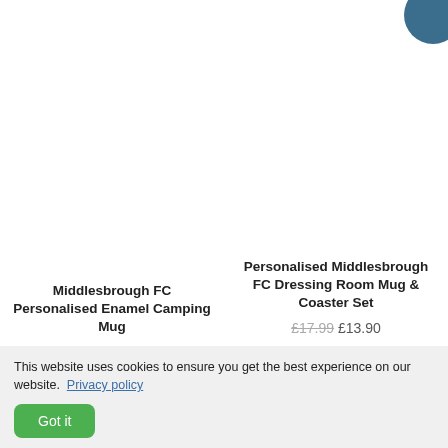[Figure (other): Blue circle icon in top right corner]
Middlesbrough FC Personalised Enamel Camping Mug
£13.90
Personalised Middlesbrough FC Dressing Room Mug & Coaster Set
£17.99 £13.90
..plus many more
VIEW THE WHOLE COLLECTION
This website uses cookies to ensure you get the best experience on our website. Privacy policy
Got it